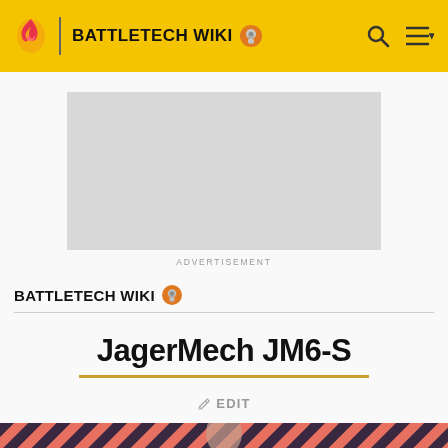BATTLETECH WIKI
[Figure (other): Advertisement placeholder - grey rectangle]
ADVERTISEMENT
BATTLETECH WIKI
JagerMech JM6-S
✏ EDIT
[Figure (illustration): Bottom section showing a person against a striped salmon/coral and dark diagonal stripe background pattern]